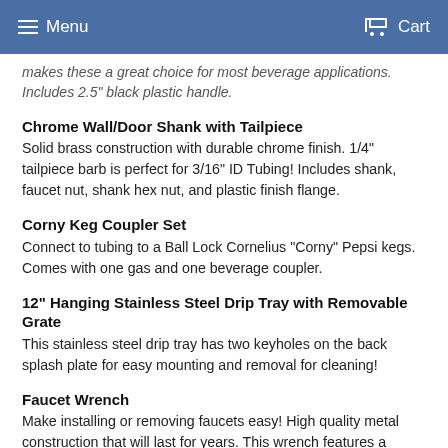Menu  Cart
makes these a great choice for most beverage applications. Includes 2.5" black plastic handle.
Chrome Wall/Door Shank with Tailpiece
Solid brass construction with durable chrome finish. 1/4" tailpiece barb is perfect for 3/16" ID Tubing! Includes shank, faucet nut, shank hex nut, and plastic finish flange.
Corny Keg Coupler Set
Connect to tubing to a Ball Lock Cornelius "Corny" Pepsi kegs. Comes with one gas and one beverage coupler.
12" Hanging Stainless Steel Drip Tray with Removable Grate
This stainless steel drip tray has two keyholes on the back splash plate for easy mounting and removal for cleaning!
Faucet Wrench
Make installing or removing faucets easy! High quality metal construction that will last for years. This wrench features a longer, thinner pin than most collar wrenches, giving you a better grip on the faucet collar.